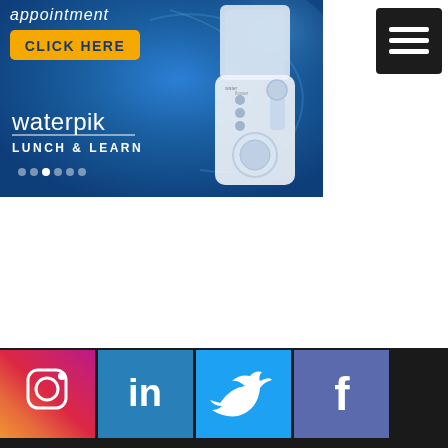[Figure (photo): Waterpik advertisement banner on blue background showing a water flosser device with text 'appointment', 'CLICK HERE' yellow button, 'waterpik' brand name, 'LUNCH & LEARN' text and navigation dots]
[Figure (other): Dark square hamburger menu icon with three white horizontal lines]
[Figure (other): Social media footer bar with four buttons: Instagram (gradient), LinkedIn (blue), Twitter (light blue), Facebook (purple-blue)]